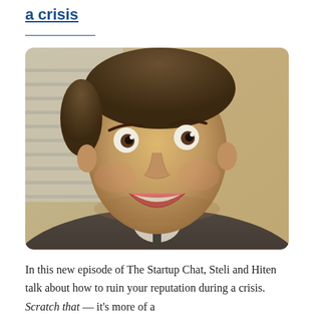a crisis
[Figure (photo): A man with wide eyes and an open-mouthed expression of surprise or shock, wearing a dark suit jacket, photographed in an indoor setting.]
In this new episode of The Startup Chat, Steli and Hiten talk about how to ruin your reputation during a crisis. Scratch that — it's more of a